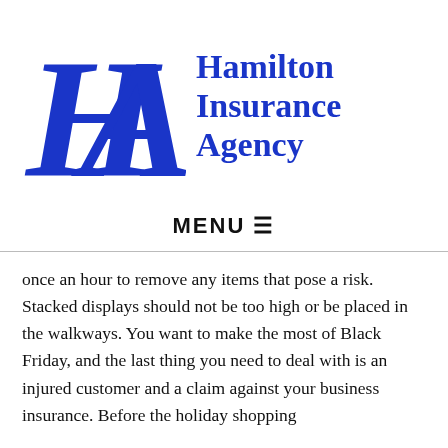[Figure (logo): Hamilton Insurance Agency logo with large blue HA monogram letters and agency name in bold blue serif font]
MENU ☰
once an hour to remove any items that pose a risk. Stacked displays should not be too high or be placed in the walkways. You want to make the most of Black Friday, and the last thing you need to deal with is an injured customer and a claim against your business insurance. Before the holiday shopping